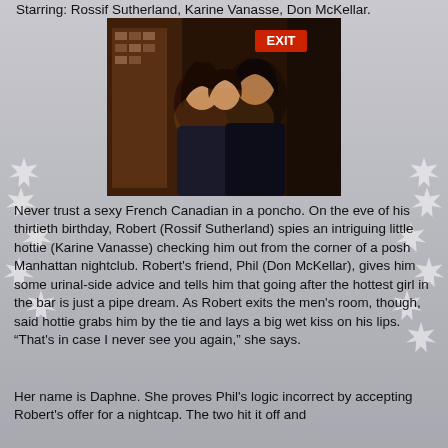Starring: Rossif Sutherland, Karine Vanasse, Don McKellar.
[Figure (photo): A couple sharing a kiss in a dimly lit nightclub setting with an EXIT sign visible in the background.]
Never trust a sexy French Canadian in a poncho. On the eve of his thirtieth birthday, Robert (Rossif Sutherland) spies an intriguing little hottie (Karine Vanasse) checking him out from the corner of a posh Manhattan nightclub. Robert's friend, Phil (Don McKellar), gives him some urinal-side advice and tells him that going after the hottest girl in the bar is just a pipe dream. As Robert exits the men's room, though, said hottie grabs him by the tie and lays a big wet kiss on his lips. “That's in case I never see you again,” she says.
Her name is Daphne. She proves Phil's logic incorrect by accepting Robert's offer for a nightcap. The two hit it off and